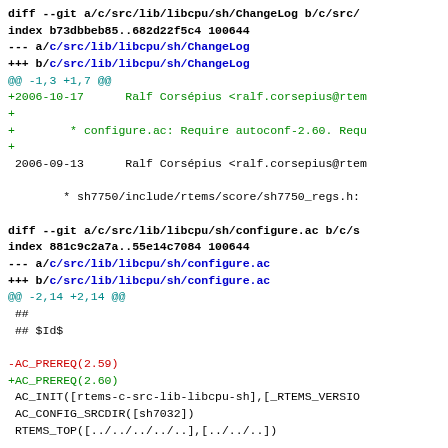diff --git a/c/src/lib/libcpu/sh/ChangeLog b/c/src/
index b73dbbeb85..682d22f5c4 100644
--- a/c/src/lib/libcpu/sh/ChangeLog
+++ b/c/src/lib/libcpu/sh/ChangeLog
@@ -1,3 +1,7 @@
+2006-10-17      Ralf Corsépius <ralf.corsepius@rtem
+
+        * configure.ac: Require autoconf-2.60. Requ
+
 2006-09-13      Ralf Corsépius <ralf.corsepius@rtem

        * sh7750/include/rtems/score/sh7750_regs.h:

diff --git a/c/src/lib/libcpu/sh/configure.ac b/c/s
index 881c9c2a7a..55e14c7084 100644
--- a/c/src/lib/libcpu/sh/configure.ac
+++ b/c/src/lib/libcpu/sh/configure.ac
@@ -2,14 +2,14 @@
  ##
  ## $Id$

-AC_PREREQ(2.59)
+AC_PREREQ(2.60)
 AC_INIT([rtems-c-src-lib-libcpu-sh],[_RTEMS_VERSIO
 AC_CONFIG_SRCDIR([sh7032])
 RTEMS_TOP([../../../../..],[../../..])

 RTEMS_CANONICAL_TARGET_CPU

-AM_INIT_AUTOMAKE([no-define foreign subdir-objects